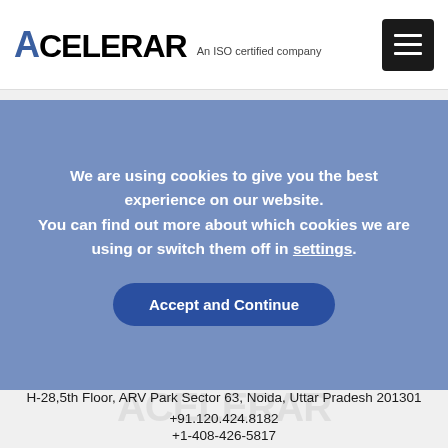[Figure (logo): Acelerar logo with blue A letter and 'An ISO certified company' text]
[Figure (other): Hamburger menu button (three horizontal lines on dark background)]
We are using cookies to give you the best experience on our website. You can find out more about which cookies we are using or switch them off in settings.
Accept and Continue
H-28,5th Floor, ARV Park Sector 63, Noida, Uttar Pradesh 201301
+91.120.424.8182
+1-408-426-5817